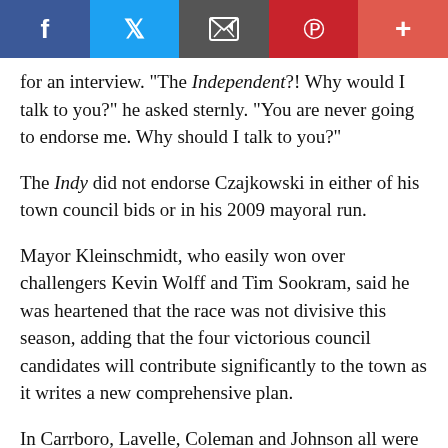Social share bar: Facebook, Twitter, Email, Pinterest, Plus
for an interview. "The Independent?! Why would I talk to you?" he asked sternly. "You are never going to endorse me. Why should I talk to you?"
The Indy did not endorse Czajkowski in either of his town council bids or in his 2009 mayoral run.
Mayor Kleinschmidt, who easily won over challengers Kevin Wolff and Tim Sookram, said he was heartened that the race was not divisive this season, adding that the four victorious council candidates will contribute significantly to the town as it writes a new comprehensive plan.
In Carrboro, Lavelle, Coleman and Johnson all were eager to get to work. First on Johnson's agenda, she said, is seeing to the end of the town's anti-loitering ordinance, a ban on standing, sitting,